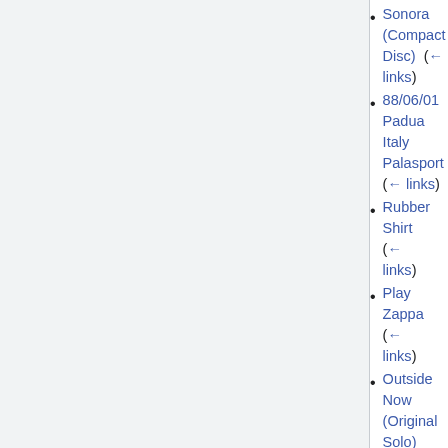Sonora (Compact Disc)  (← links)
88/06/01 Padua Italy Palasport  (← links)
Rubber Shirt  (← links)
Play Zappa  (← links)
Outside Now (Original Solo)  (← links)
The Frank Zappa Guitar Book  (← links)
88/02/19-20 Boston MA US Orpheum Theater  (← links)
80/05/24 Rotterdam Netherlands The Ahoy  (← links)
Frank Zappa and His Digital Orchestra  (← links)
Saint Zappa, Halloween Idyll  (← links)
84/07/17-22 Los Angeles CA US Palace Theater  (← links)